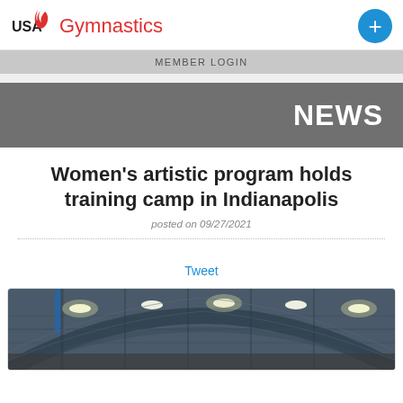USA Gymnastics — MEMBER LOGIN
NEWS
Women's artistic program holds training camp in Indianapolis
posted on 09/27/2021
Tweet
[Figure (photo): Interior of a large gymnasium arena with arched steel roof structure and overhead lighting]